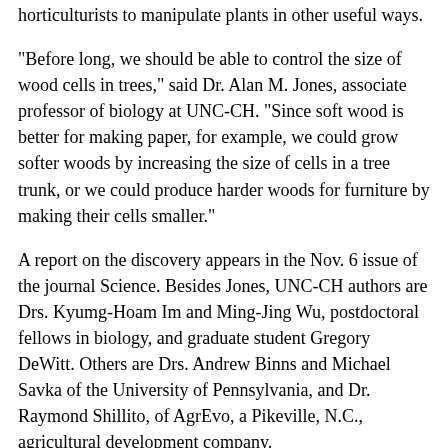horticulturists to manipulate plants in other useful ways.
"Before long, we should be able to control the size of wood cells in trees," said Dr. Alan M. Jones, associate professor of biology at UNC-CH. "Since soft wood is better for making paper, for example, we could grow softer woods by increasing the size of cells in a tree trunk, or we could produce harder woods for furniture by making their cells smaller."
A report on the discovery appears in the Nov. 6 issue of the journal Science. Besides Jones, UNC-CH authors are Drs. Kyumg-Hoam Im and Ming-Jing Wu, postdoctoral fellows in biology, and graduate student Gregory DeWitt. Others are Drs. Andrew Binns and Michael Savka of the University of Pennsylvania, and Dr. Raymond Shillito, of AgrEvo, a Pikeville, N.C., agricultural development company.
In research completed in 1989, Jones identified a protein he